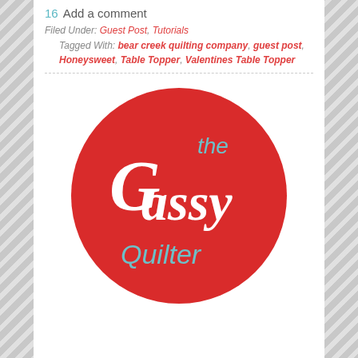16 Add a comment
Filed Under: Guest Post, Tutorials Tagged With: bear creek quilting company, guest post, Honeysweet, Table Topper, Valentines Table Topper
[Figure (logo): The Sassy Quilter logo — red circle with white script text 'the Sassy' and teal text 'quilter']